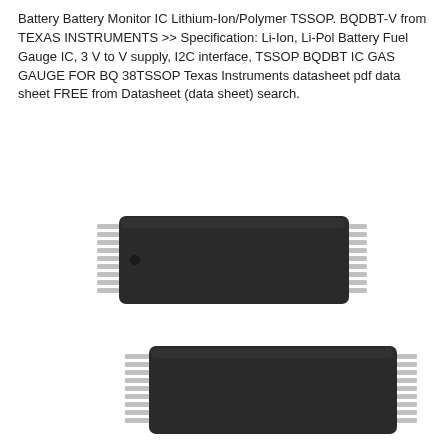Battery Battery Monitor IC Lithium-Ion/Polymer TSSOP. BQDBT-V from TEXAS INSTRUMENTS >> Specification: Li-Ion, Li-Pol Battery Fuel Gauge IC, 3 V to V supply, I2C interface, TSSOP BQDBT IC GAS GAUGE FOR BQ 38TSSOP Texas Instruments datasheet pdf data sheet FREE from Datasheet (data sheet) search.
[Figure (photo): Two TSSOP integrated circuit chips (Battery Monitor IC, BQDBT-V from Texas Instruments) shown in a diagonal arrangement. The chips are dark gray/black with silver leads/pins on both sides. One chip is positioned above and slightly to the left, and the other below and to the right. The image is in grayscale.]